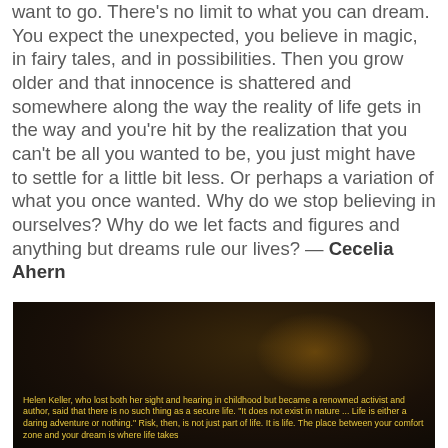want to go. There's no limit to what you can dream. You expect the unexpected, you believe in magic, in fairy tales, and in possibilities. Then you grow older and that innocence is shattered and somewhere along the way the reality of life gets in the way and you're hit by the realization that you can't be all you wanted to be, you just might have to settle for a little bit less. Or perhaps a variation of what you once wanted. Why do we stop believing in ourselves? Why do we let facts and figures and anything but dreams rule our lives? — Cecelia Ahern
[Figure (photo): Dark atmospheric photo with a glowing warm light, overlaid with yellow text quoting Helen Keller about secure life and risk.]
Helen Keller, who lost both her sight and hearing in childhood but became a renowned activist and author, said that there is no such thing as a secure life. "It does not exist in nature ... Life is either a daring adventure or nothing." Risk, then, is not just part of life. It is life. The place between your comfort zone and your dream is where life takes